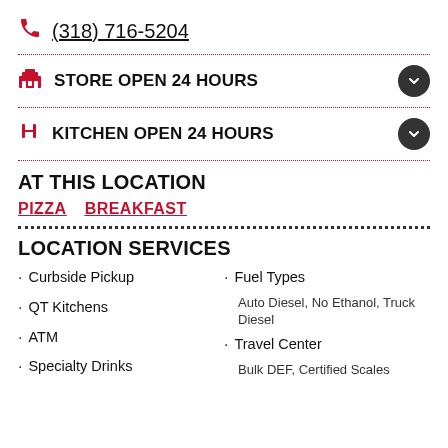(318) 716-5204
STORE OPEN 24 HOURS
KITCHEN OPEN 24 HOURS
AT THIS LOCATION
PIZZA   BREAKFAST
LOCATION SERVICES
Curbside Pickup
QT Kitchens
ATM
Specialty Drinks
Fuel Types
Auto Diesel, No Ethanol, Truck Diesel
Travel Center
Bulk DEF, Certified Scales